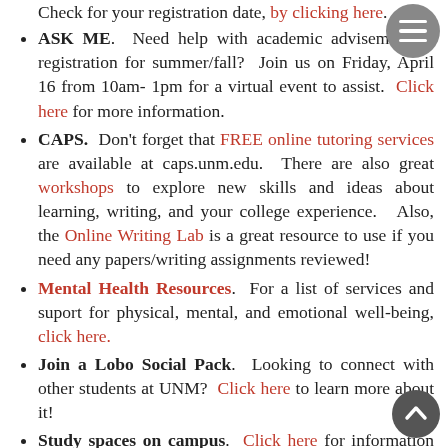Check for your registration date, by clicking here.
ASK ME. Need help with academic advisement or registration for summer/fall? Join us on Friday, April 16 from 10am- 1pm for a virtual event to assist. Click here for more information.
CAPS. Don't forget that FREE online tutoring services are available at caps.unm.edu. There are also great workshops to explore new skills and ideas about learning, writing, and your college experience. Also, the Online Writing Lab is a great resource to use if you need any papers/writing assignments reviewed!
Mental Health Resources. For a list of services and suport for physical, mental, and emotional well-being, click here.
Join a Lobo Social Pack. Looking to connect with other students at UNM? Click here to learn more about it!
Study spaces on campus. Click here for information on study spaces that are open on